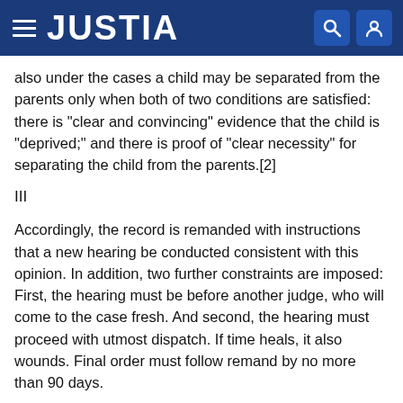JUSTIA
also under the cases a child may be separated from the parents only when both of two conditions are satisfied: there is "clear and convincing" evidence that the child is "deprived;" and there is proof of "clear necessity" for separating the child from the parents.[2]
III
Accordingly, the record is remanded with instructions that a new hearing be conducted consistent with this opinion. In addition, two further constraints are imposed: First, the hearing must be before another judge, who will come to the case fresh. And second, the hearing must proceed with utmost dispatch. If time heals, it also wounds. Final order must follow remand by no more than 90 days.
CERCONE, J., files a concurring opinion.